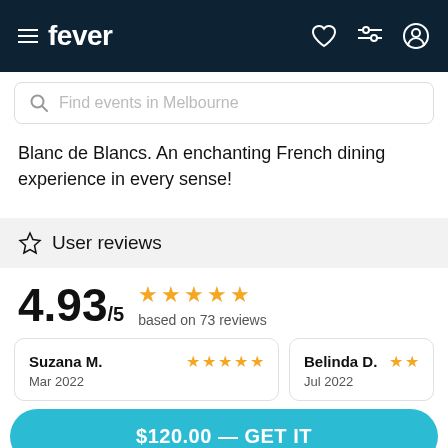fever — Find events in Melbourne
Blanc de Blancs. An enchanting French dining experience in every sense!
User reviews
4.93/5  ★★★★★  based on 73 reviews
Suzana M.  ★★★★★  Mar 2022
Belinda D.  ★★  Jul 2022
$120.00 — GET IT
different to what normally
atmosphere, the food,